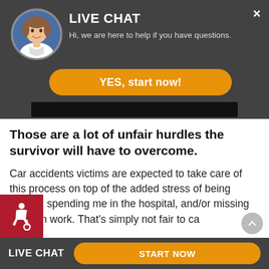[Figure (screenshot): Live chat popup overlay with agent avatar photo, 'LIVE CHAT' heading, greeting text, and orange 'YES, start now!' button on dark gray background]
Those are a lot of unfair hurdles the survivor will have to overcome.
Car accidents victims are expected to take care of this process on top of the added stress of being injured, spending me in the hospital, and/or missing time om work. That's simply not fair to ca
[Figure (screenshot): Bottom live chat bar with 'LIVE CHAT' label and orange 'START NOW' button]